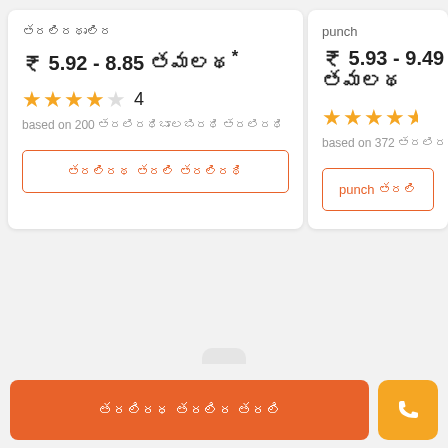₹ 5.92 - 8.85 (Tamil text)*
4 stars rating, 4 out of 5
based on 200 (Tamil text)
(Tamil button text)
punch
₹ 5.93 - 9.49 (Tamil text)
4.5 stars rating
based on 372 (Tamil text)
punch (Tamil text)
(Tamil bottom button text)